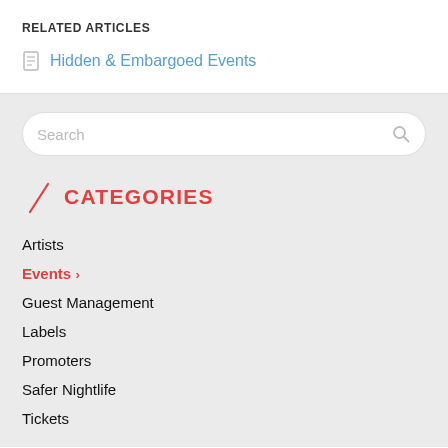RELATED ARTICLES
Hidden & Embargoed Events
[Figure (screenshot): Search input box with placeholder text 'Search' and a search (magnifier) icon on the right]
CATEGORIES
Artists
Events
Guest Management
Labels
Promoters
Safer Nightlife
Tickets